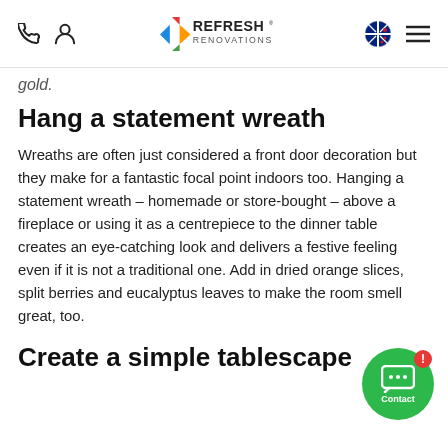Refresh Renovations - navigation header with phone, user, logo, NZ flag, and menu icons
gold.
Hang a statement wreath
Wreaths are often just considered a front door decoration but they make for a fantastic focal point indoors too. Hanging a statement wreath – homemade or store-bought – above a fireplace or using it as a centrepiece to the dinner table creates an eye-catching look and delivers a festive feeling even if it is not a traditional one. Add in dried orange slices, split berries and eucalyptus leaves to make the room smell great, too.
Create a simple tablescape